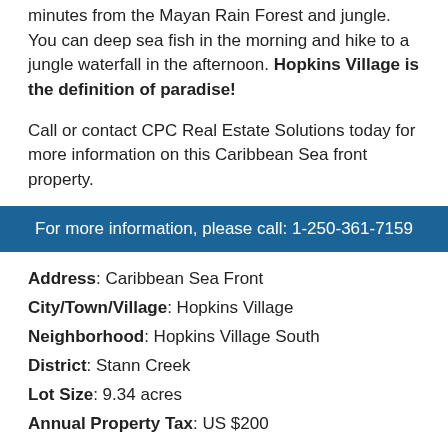minutes from the Mayan Rain Forest and jungle. You can deep sea fish in the morning and hike to a jungle waterfall in the afternoon. Hopkins Village is the definition of paradise!
Call or contact CPC Real Estate Solutions today for more information on this Caribbean Sea front property.
For more information, please call: 1-250-361-7159
Address: Caribbean Sea Front
City/Town/Village: Hopkins Village
Neighborhood: Hopkins Village South
District: Stann Creek
Lot Size: 9.34 acres
Annual Property Tax: US $200
Community Features
ATM Machine
Ambulance/911 Service